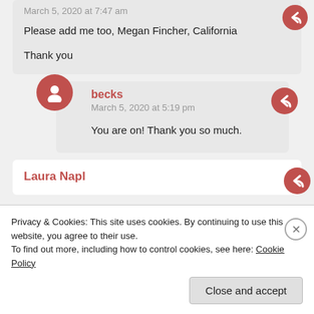March 5, 2020 at 7:47 am
Please add me too, Megan Fincher, California

Thank you
becks
March 5, 2020 at 5:19 pm
You are on! Thank you so much.
Laura Napl
Privacy & Cookies: This site uses cookies. By continuing to use this website, you agree to their use.
To find out more, including how to control cookies, see here: Cookie Policy
Close and accept